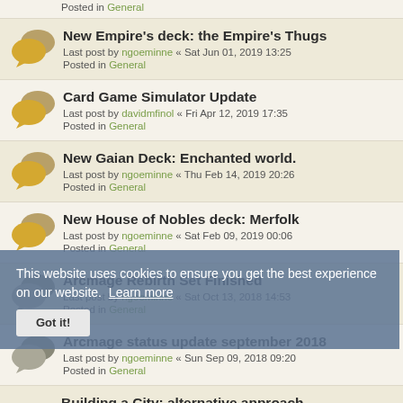Posted in General
New Empire's deck: the Empire's Thugs
Last post by ngoeminne « Sat Jun 01, 2019 13:25
Posted in General
Card Game Simulator Update
Last post by davidmfinol « Fri Apr 12, 2019 17:35
Posted in General
New Gaian Deck: Enchanted world.
Last post by ngoeminne « Thu Feb 14, 2019 20:26
Posted in General
New House of Nobles deck: Merfolk
Last post by ngoeminne « Sat Feb 09, 2019 00:06
Posted in General
Arcmage Rebirth Set Finished
Last post by ngoeminne « Sat Oct 13, 2018 14:53
Posted in General
Arcmage status update september 2018
Last post by ngoeminne « Sun Sep 09, 2018 09:20
Posted in General
This website uses cookies to ensure you get the best experience on our website. Learn more
Got it!
Building a City: alternative approach